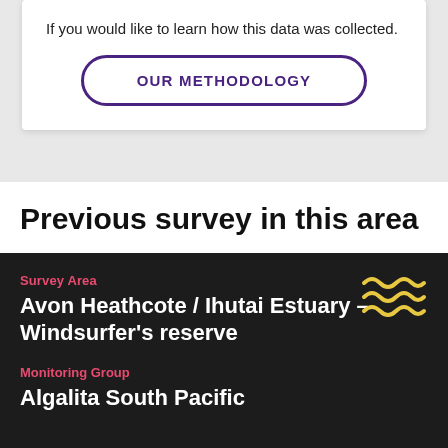If you would like to learn how this data was collected.
OUR METHODOLOGY
Previous survey in this area
Survey Area
Avon Heathcote / Ihutai Estuary – Windsurfer's reserve
Monitoring Group
Algalita South Pacific